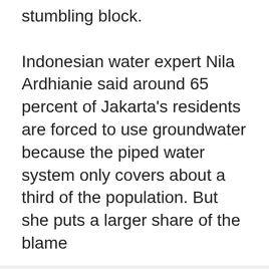stumbling block. Indonesian water expert Nila Ardhianie said around 65 percent of Jakarta's residents are forced to use groundwater because the piped water system only covers about a third of the population. But she puts a larger share of the blame
We use cookies
We use cookies and other tracking technologies to improve your browsing experience on our website, to show you personalized content and targeted ads, to analyze our website traffic, and to understand where our visitors are coming from.